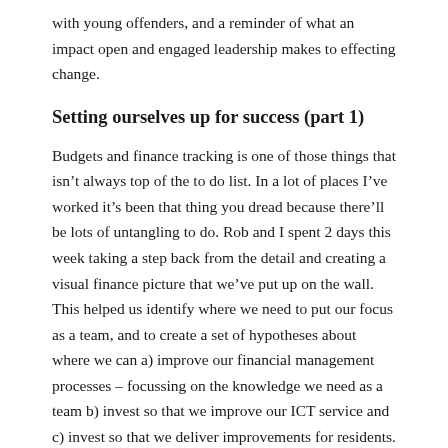with young offenders, and a reminder of what an impact open and engaged leadership makes to effecting change.
Setting ourselves up for success (part 1)
Budgets and finance tracking is one of those things that isn't always top of the to do list. In a lot of places I've worked it's been that thing you dread because there'll be lots of untangling to do. Rob and I spent 2 days this week taking a step back from the detail and creating a visual finance picture that we've put up on the wall. This helped us identify where we need to put our focus as a team, and to create a set of hypotheses about where we can a) improve our financial management processes – focussing on the knowledge we need as a team b) invest so that we improve our ICT service and c) invest so that we deliver improvements for residents.